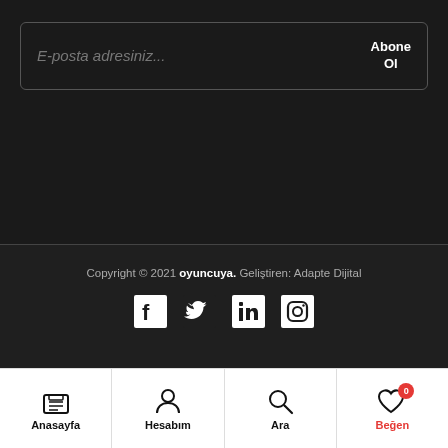E-posta adresiniz...
Abone Ol
Copyright © 2021 oyuncuya. Geliştiren: Adapte Dijital
[Figure (infographic): Social media icons: Facebook, Twitter, LinkedIn, Instagram]
[Figure (infographic): Payment method logos: VISA, MasterCard, PayPal, Skrill, Maestro, VISA Electron]
Anasayfa
Hesabım
Ara
Beğen